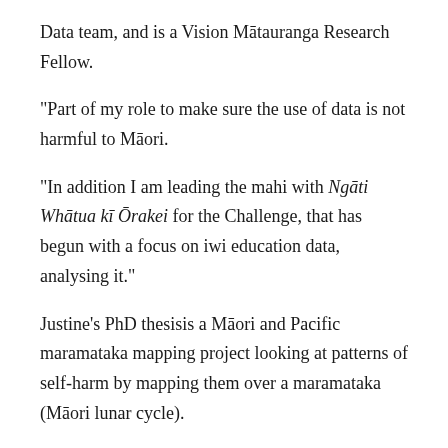Data team, and is a Vision Mātauranga Research Fellow.
“Part of my role to make sure the use of data is not harmful to Māori.
“In addition I am leading the mahi with Ngāti Whātua kī Ōrakei for the Challenge, that has begun with a focus on iwi education data, analysing it.”
Justine’s PhD thesisis a Māori and Pacific maramataka mapping project looking at patterns of self-harm by mapping them over a maramataka (Māori lunar cycle).
“I have worked with a Hawaiian and two Māori master navigators and created a whānau health